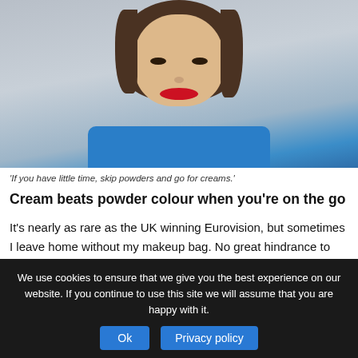[Figure (photo): Portrait photo of a woman with brown wavy hair, red lips, wearing a blue top and a gold/brown necklace, against a grey background.]
'If you have little time, skip powders and go for creams.'
Cream beats powder colour when you’re on the go
It’s nearly as rare as the UK winning Eurovision, but sometimes I leave home without my makeup bag. No great hindrance to most, of course, but a minor disaster for me as someone who invariably leaves the house bare faced (my default setting at home) and gets ready on the train to a
We use cookies to ensure that we give you the best experience on our website. If you continue to use this site we will assume that you are happy with it.